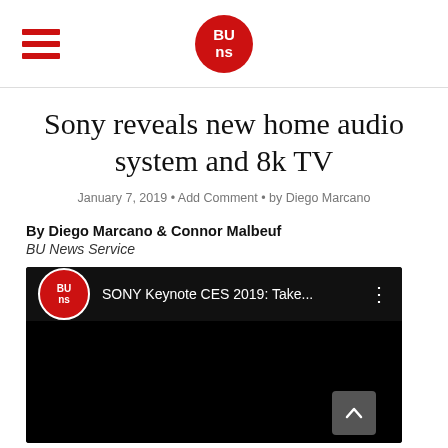BU NS (logo)
Sony reveals new home audio system and 8k TV
January 7, 2019 • Add Comment • by Diego Marcano
By Diego Marcano & Connor Malbeuf
BU News Service
[Figure (screenshot): YouTube video embed showing 'SONY Keynote CES 2019: Take...' with BU News Service channel logo, dark background video player]